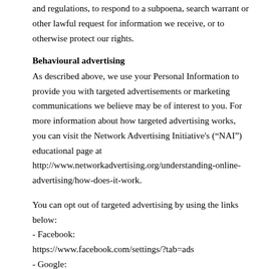and regulations, to respond to a subpoena, search warrant or other lawful request for information we receive, or to otherwise protect our rights.
Behavioural advertising
As described above, we use your Personal Information to provide you with targeted advertisements or marketing communications we believe may be of interest to you. For more information about how targeted advertising works, you can visit the Network Advertising Initiative's (“NAI”) educational page at http://www.networkadvertising.org/understanding-online-advertising/how-does-it-work.
You can opt out of targeted advertising by using the links below:
- Facebook:
https://www.facebook.com/settings/?tab=ads
- Google: